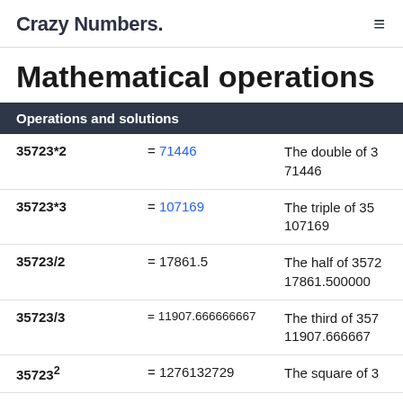Crazy Numbers.
Mathematical operations
| Operations and solutions |  |  |
| --- | --- | --- |
| 35723*2 | = 71446 | The double of 35723 is 71446 |
| 35723*3 | = 107169 | The triple of 35723 is 107169 |
| 35723/2 | = 17861.5 | The half of 35723 is 17861.500000 |
| 35723/3 | = 11907.666666667 | The third of 35723 is 11907.666667 |
| 35723² | = 1276132729 | The square of 35723 is... |